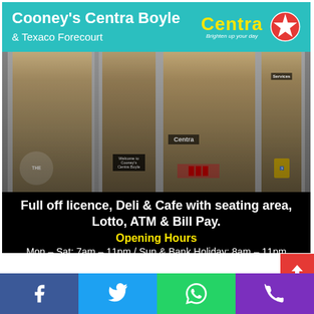[Figure (infographic): Cooney's Centra Boyle & Texaco Forecourt advertisement banner. Shows the store front with teal header bar containing store name, Centra logo and Texaco star. Below is a photo of the store exterior with glass windows. Overlay text shows services: Full off licence, Deli & Cafe with seating area, Lotto, ATM & Bill Pay. Opening Hours listed as Mon-Sat: 7am-11pm / Sun & Bank Holiday: 8am-11pm. Green Facebook CTA at bottom. Social share buttons at very bottom.]
Full off licence, Deli & Cafe with seating area, Lotto, ATM & Bill Pay.
Opening Hours
Mon - Sat: 7am - 11pm / Sun & Bank Holiday: 8am - 11pm
CLICK HERE & LIKE US ON FACEBOOK